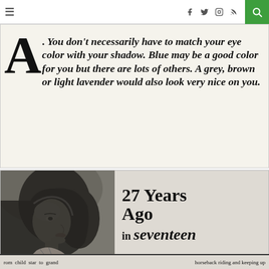≡   f  🐦  📷  RSS  🔍
[Figure (photo): Scanned magazine clipping showing bold italic text: 'A. You don't necessarily have to match your eye color with your shadow. Blue may be a good color for you but there are lots of others. A grey, brown or light lavender would also look very nice on you.' with a large drop-cap A on cream/aged paper background.]
[Figure (photo): Scanned magazine clipping showing a black-and-white photo of a young woman in profile on the left, and on the right the text '27 Years Ago in seventeen' in bold serif type on aged paper. A caption bar at the bottom reads partial text about a child star and horseback riding.]
rom child star to grand    horseback riding and keeping up